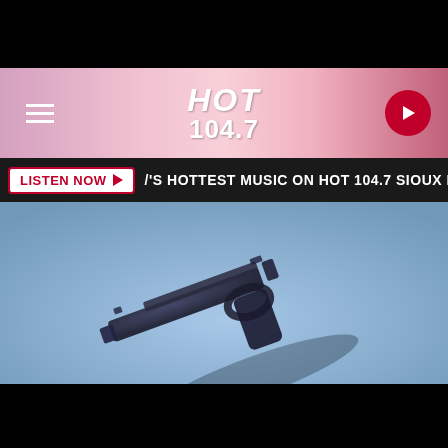[Figure (screenshot): Mobile website screenshot of Hot 104.7 radio station page showing header with logo, listen now bar, gun clipart image, and Sioux Falls Police car image with caption 'Clipart/Results Radio']